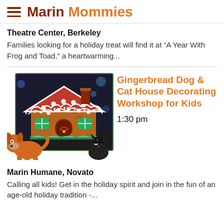Marin Mommies
Theatre Center, Berkeley
Families looking for a holiday treat will find it at “A Year With Frog and Toad,” a heartwarming...
[Figure (photo): Photo of a decorated gingerbread house with red and white icing and candy decorations, with cartoon dog and cat illustrations overlaid at the bottom]
Gingerbread Dog & Cat House Decorating Workshop for Kids
1:30 pm
Marin Humane, Novato
Calling all kids! Get in the holiday spirit and join in the fun of an age-old holiday tradition -...